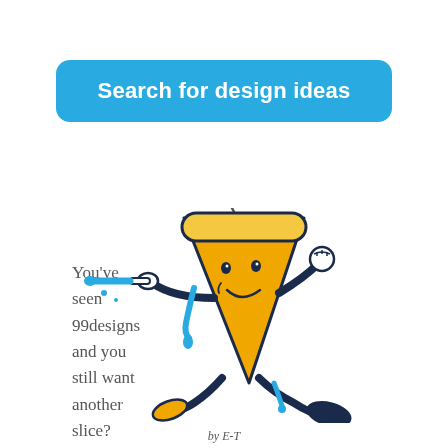Search for design ideas
You've seen 99designs and you still want another slice?
[Figure (illustration): Cartoon illustration of an anthropomorphic pizza slice character running and pointing, with blue sauce dripping. The character has a smiling face, arms, and legs in a retro mascot style.]
by E-T